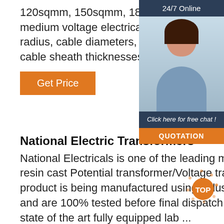120sqmm, 150sqmm, 185sqmm, 240sqmm, 300sqmm, 400sqmm. For medium voltage electrical data about 11kV 3 core cables including bending radius, cable diameters, cable drum lengths, weight, insulation type and cable sheath thicknesses please refer
[Figure (photo): Customer service representative woman wearing headset with 24/7 Online banner, Click here for free chat text, and QUOTATION orange button]
Get Price
National Electric Transformers
National Electricals is one of the leading manufacturers of 11kV to 33kV resin cast Potential transformer/Voltage transformer installation. Our product is being manufactured using industrial best practices/processes and are 100% tested before final dispatch as per NABL guidelines in our state of the art fully equipped lab ...
Get Price